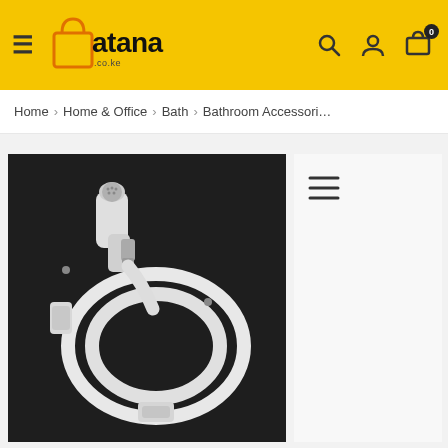atana .co.ke
Home > Home & Office > Bath > Bathroom Accessories
[Figure (photo): White handheld bidet sprayer with white flexible hose coiled on a dark/black background, mounted with a holder.]
[Figure (other): List/menu icon (three horizontal lines) on the right side of the page]